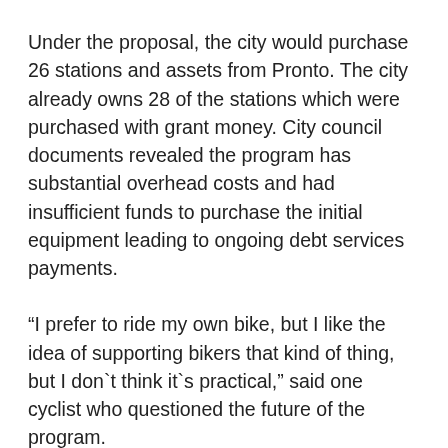Under the proposal, the city would purchase 26 stations and assets from Pronto. The city already owns 28 of the stations which were purchased with grant money. City council documents revealed the program has substantial overhead costs and had insufficient funds to purchase the initial equipment leading to ongoing debt services payments.
“I prefer to ride my own bike, but I like the idea of supporting bikers that kind of thing, but I don’t think it’s practical,” said one cyclist who questioned the future of the program.
If the plan moves forward, the Seattle Department of Transportation intends to contract with a company to